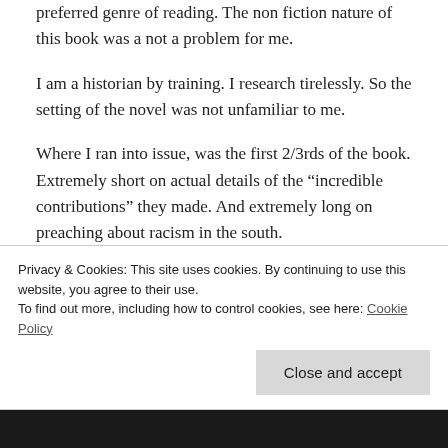preferred genre of reading. The non fiction nature of this book was a not a problem for me.
I am a historian by training. I research tirelessly. So the setting of the novel was not unfamiliar to me.
Where I ran into issue, was the first 2/3rds of the book. Extremely short on actual details of the "incredible contributions" they made. And extremely long on preaching about racism in the south.
Privacy & Cookies: This site uses cookies. By continuing to use this website, you agree to their use.
To find out more, including how to control cookies, see here: Cookie Policy